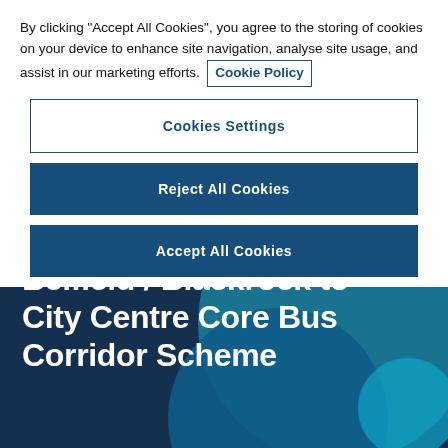By clicking "Accept All Cookies", you agree to the storing of cookies on your device to enhance site navigation, analyse site usage, and assist in our marketing efforts.  Cookie Policy
Cookies Settings
Reject All Cookies
Accept All Cookies
Belfield / Blackrock to City Centre Core Bus Corridor Scheme